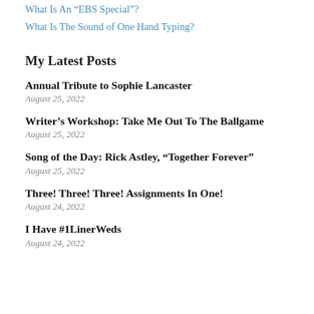What Is An “EBS Special”?
What Is The Sound of One Hand Typing?
My Latest Posts
Annual Tribute to Sophie Lancaster
August 25, 2022
Writer’s Workshop: Take Me Out To The Ballgame
August 25, 2022
Song of the Day: Rick Astley, “Together Forever”
August 25, 2022
Three! Three! Three! Assignments In One!
August 24, 2022
I Have #1LinerWeds
August 24, 2022